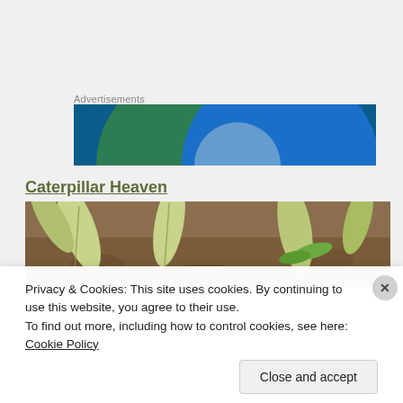Advertisements
[Figure (logo): Blue and green semicircle advertisement banner graphic]
Caterpillar Heaven
[Figure (photo): Close-up photograph of plant leaves and caterpillars on soil]
Privacy & Cookies: This site uses cookies. By continuing to use this website, you agree to their use.
To find out more, including how to control cookies, see here: Cookie Policy
Close and accept